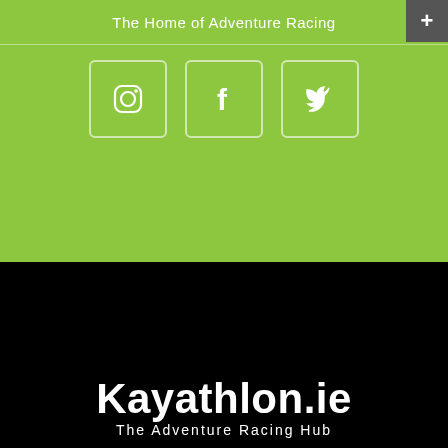The Home of Adventure Racing
[Figure (logo): Social media icons: Instagram, Facebook, Twitter in rounded square borders on green background]
[Figure (logo): Kayathlon.ie logo: white silhouette illustration of three athletes (kayaker, cyclist, runner) in action on black background]
Kayathlon.ie
The Adventure Racing Hub